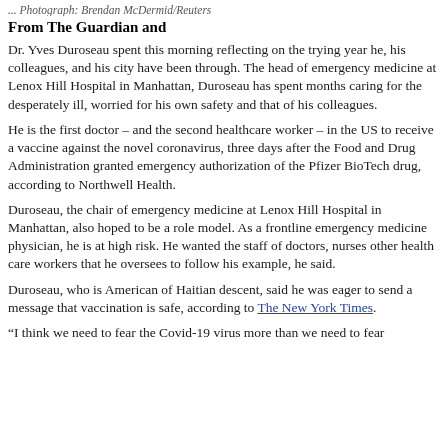... Photograph: Brendan McDermid/Reuters
From The Guardian and
Dr. Yves Duroseau spent this morning reflecting on the trying year he, his colleagues, and his city have been through. The head of emergency medicine at Lenox Hill Hospital in Manhattan, Duroseau has spent months caring for the desperately ill, worried for his own safety and that of his colleagues.
He is the first doctor – and the second healthcare worker – in the US to receive a vaccine against the novel coronavirus, three days after the Food and Drug Administration granted emergency authorization of the Pfizer BioTech drug, according to Northwell Health.
Duroseau, the chair of emergency medicine at Lenox Hill Hospital in Manhattan, also hoped to be a role model. As a frontline emergency medicine physician, he is at high risk. He wanted the staff of doctors, nurses other health care workers that he oversees to follow his example, he said.
Duroseau, who is American of Haitian descent, said he was eager to send a message that vaccination is safe, according to The New York Times.
“I think we need to fear the Covid-19 virus more than we need to fear the vaccine,” said Dr. D...